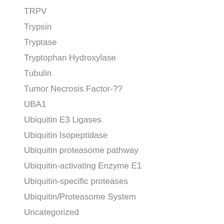TRPV
Trypsin
Tryptase
Tryptophan Hydroxylase
Tubulin
Tumor Necrosis Factor-??
UBA1
Ubiquitin E3 Ligases
Ubiquitin Isopeptidase
Ubiquitin proteasome pathway
Ubiquitin-activating Enzyme E1
Ubiquitin-specific proteases
Ubiquitin/Proteasome System
Uncategorized
uPA